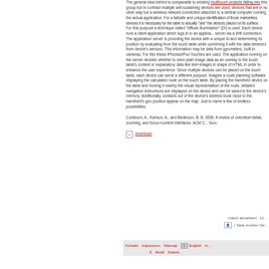The general idea behind is comparable to existing multitouch projects falling into this group but in contrast multiple self-sustaining devices are used, devices that are in no other way but a wireless network connection attached to a central computer running the actual application. For a failsafe and unique identification of those markerless devices it is necessary for the touch table to actually "see" the devices placed on its surface. For this purpose a technique called "diffuse illumination" (DI) is used. Each device runs a client application which logs in to an application server via a Wifi connection. The application server is providing the device with a unique Id and determining its position by evaluating data from the touch table while combining it with the data retrieved from the device's sensors. This information may be data from gyrometers, or built-in cameras. For this thesis iPhones/iPod Touches are used. The application running on the server decides whether to send plain image data as an overlay to the touch table's context or explanatory data like text+images in shape of HTML in order to enhance the user experience. Since multiple devices can be placed on the touch table, each device can serve a different purpose. Imagine a route planning software displaying the calculated route on the touch table. By placing the handheld device on the table and moving it nearby the visual representation of the route, detailed navigation instructions are displayed on the device and can be saved to the device's memory. Additionally, contacts out of the device's address book close to the handheld's geo position appear on the map. Just to name a few of endless possibilities.
Cockburn, A., Karlson, A., and Bederson, B. B. 2008. A review of overview+detail, zooming, and focus+context interfaces. ACM C... Surv..
download
zuletzt aktualisiert:  12...
Seite drucken Ve...
Kontakt  Impressum  Sitemap  English  In... Z  Mobil  Datere...